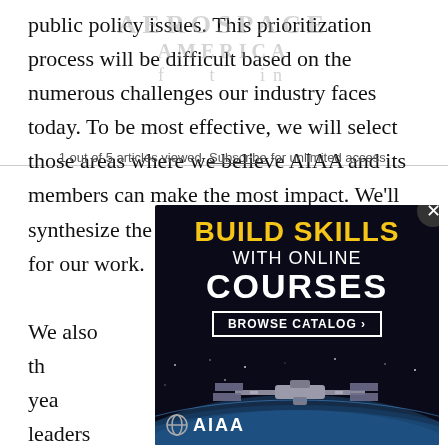public policy issues. This prioritization process will be difficult based on the numerous challenges our industry faces today. To be most effective, we will select those areas where we believe AIAA and its members can make the most impact. We'll synthesize the priority areas into a roadmap for our work.

We also [partially obscured] wn from th[e] [t]hroughout the yea[r] [aerospace] leaders [who identified th]e three Domai[n] [co-chair]n
[Figure (infographic): Advertisement overlay for AIAA online courses. Dark space background with text 'BUILD SKILLS WITH ONLINE COURSES' and 'BROWSE CATALOG >' button. Bottom shows ISS silhouette over Earth horizon. AIAA logo in bottom left corner. Close button (X) in top right.]